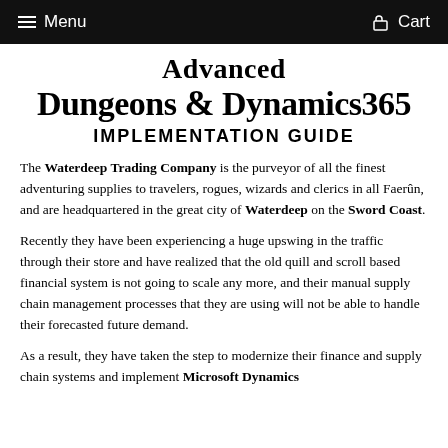Menu  Cart
Advanced Dungeons & Dynamics365 IMPLEMENTATION GUIDE
The Waterdeep Trading Company is the purveyor of all the finest adventuring supplies to travelers, rogues, wizards and clerics in all Faerûn, and are headquartered in the great city of Waterdeep on the Sword Coast.
Recently they have been experiencing a huge upswing in the traffic through their store and have realized that the old quill and scroll based financial system is not going to scale any more, and their manual supply chain management processes that they are using will not be able to handle their forecasted future demand.
As a result, they have taken the step to modernize their finance and supply chain systems and implement Microsoft Dynamics